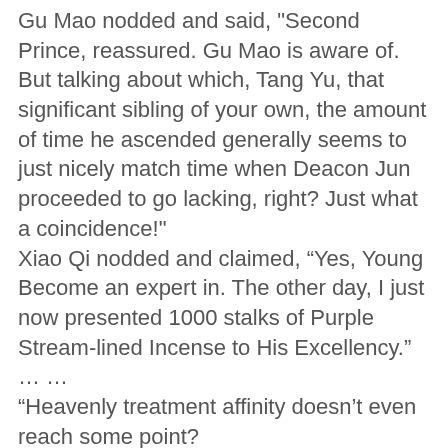Gu Mao nodded and said, "Second Prince, reassured. Gu Mao is aware of. But talking about which, Tang Yu, that significant sibling of your own, the amount of time he ascended generally seems to just nicely match time when Deacon Jun proceeded to go lacking, right? Just what a coincidence!"
Xiao Qi nodded and claimed, “Yes, Young Become an expert in. The other day, I just now presented 1000 stalks of Purple Stream-lined Incense to His Excellency.”
… …
“Heavenly treatment affinity doesn’t even reach some point?
Gu Mao smiled and stated, “Second Prince, Your Highness, talking about he or she, he’s really a mysterious number! Certainly just has cheaper Reduced Sublime Heaven energy, but he dragged the Gui Household up through the roots! Even Gui Haisheng passed away at his hands and fingers too. But, what is more extraordinary is always that …
Xiao Qi’s gaze flickered and she stated, “Young Expert, though Dragonbone Gra.s.s is among the most common mindset remedies, acc.u.mulating over so many yrs, it is almost corresponding to a shop actually! If there is any results, that’s high-quality. But, delivering somebody whose affinity doesn’t even attain one point